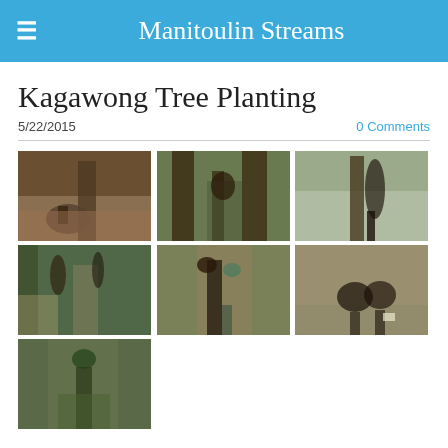Manitoulin Streams
Kagawong Tree Planting
5/22/2015
0 Comments
[Figure (photo): Person crouching and digging near large tree trunk in forest with leaf litter]
[Figure (photo): Person standing between large tree trunks holding a planting tool in forest]
[Figure (photo): Person standing near water's edge with trees in background holding a shovel]
[Figure (photo): Two people walking along a forest trail, one carrying a bag]
[Figure (photo): Two people walking toward camera on a forest dirt path]
[Figure (photo): Two people crouching near forest floor working near a white bucket]
[Figure (photo): Person in green hoodie carrying planting equipment through forest]